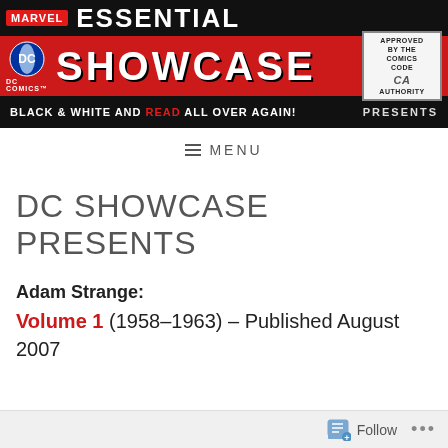[Figure (logo): Marvel Essential Showcase DC Comics banner with Marvel logo, Showcase title in red, DC Comics logo, Comics Code Authority stamp, and tagline BLACK & WHITE AND READ ALL OVER AGAIN! PRESENTS]
MENU
DC SHOWCASE PRESENTS
Adam Strange:
Volume 1 (1958–1963) – Published August 2007
Follow ...